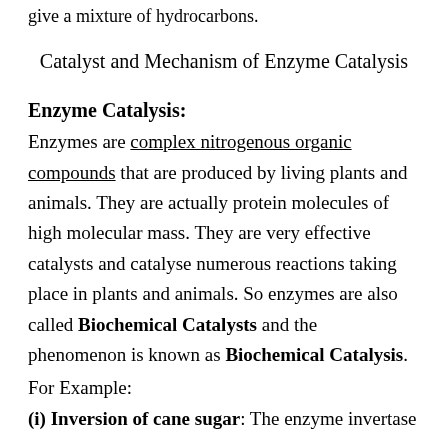give a mixture of hydrocarbons.
Catalyst and Mechanism of Enzyme Catalysis
Enzyme Catalysis:
Enzymes are complex nitrogenous organic compounds that are produced by living plants and animals. They are actually protein molecules of high molecular mass. They are very effective catalysts and catalyse numerous reactions taking place in plants and animals. So enzymes are also called Biochemical Catalysts and the phenomenon is known as Biochemical Catalysis.
For Example:
(i) Inversion of cane sugar: The enzyme invertase